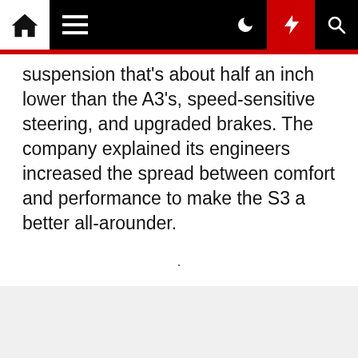[navigation bar with home, menu, dark-mode, lightning, search icons]
suspension that's about half an inch lower than the A3's, speed-sensitive steering, and upgraded brakes. The company explained its engineers increased the spread between comfort and performance to make the S3 a better all-arounder.